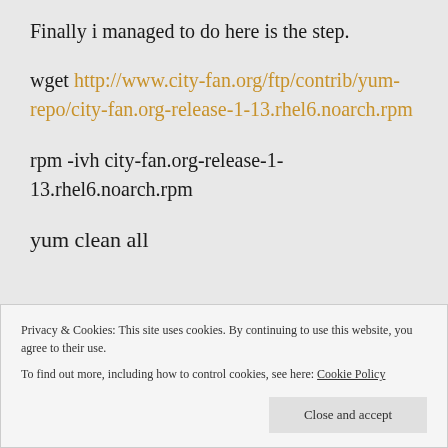Finally i managed to do here is the step.
wget http://www.city-fan.org/ftp/contrib/yum-repo/city-fan.org-release-1-13.rhel6.noarch.rpm
rpm -ivh city-fan.org-release-1-13.rhel6.noarch.rpm
yum clean all
Privacy & Cookies: This site uses cookies. By continuing to use this website, you agree to their use.
To find out more, including how to control cookies, see here: Cookie Policy
Close and accept